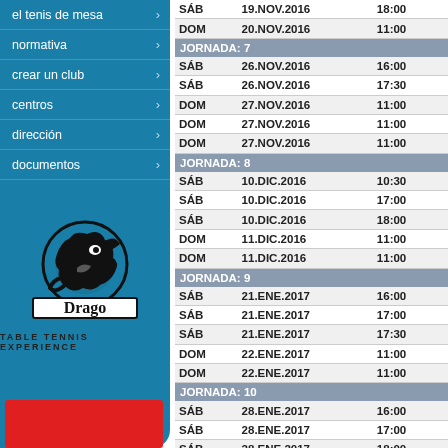el tenis de mesa
normativa
crear un club
centros
dirección
documentos
[Figure (logo): Drago Table Tennis Experience logo — black dragon in circle above 'Drago' text in bordered box, tagline TABLE TENNIS EXPERIENCE]
| DAY | DATE | TIME |
| --- | --- | --- |
| SÁB | 19.NOV.2016 | 18:00 |
| DOM | 20.NOV.2016 | 11:00 |
| JORNADA: 7 |  |  |
| SÁB | 26.NOV.2016 | 16:00 |
| SÁB | 26.NOV.2016 | 17:30 |
| DOM | 27.NOV.2016 | 11:00 |
| DOM | 27.NOV.2016 | 11:00 |
| DOM | 27.NOV.2016 | 11:00 |
| JORNADA: 8 |  |  |
| SÁB | 10.DIC.2016 | 10:30 |
| SÁB | 10.DIC.2016 | 17:00 |
| SÁB | 10.DIC.2016 | 18:00 |
| DOM | 11.DIC.2016 | 11:00 |
| DOM | 11.DIC.2016 | 11:00 |
| JORNADA: 9 |  |  |
| SÁB | 21.ENE.2017 | 16:00 |
| SÁB | 21.ENE.2017 | 17:00 |
| SÁB | 21.ENE.2017 | 17:30 |
| DOM | 22.ENE.2017 | 11:00 |
| DOM | 22.ENE.2017 | 11:00 |
| JORNADA: 10 |  |  |
| SÁB | 28.ENE.2017 | 16:00 |
| SÁB | 28.ENE.2017 | 17:00 |
| SÁB | 28.ENE.2017 | 18:00 |